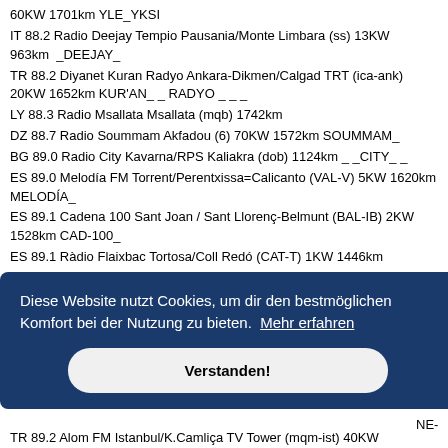60KW 1701km YLE_YKSI
IT 88.2 Radio Deejay Tempio Pausania/Monte Limbara (ss) 13KW 963km _DEEJAY_
TR 88.2 Diyanet Kuran Radyo Ankara-Dikmen/Calgad TRT (ica-ank) 20KW 1652km KUR'AN_ _ RADYO _ _ _
LY 88.3 Radio Msallata Msallata (mqb) 1742km
DZ 88.7 Radio Soummam Akfadou (6) 70KW 1572km SOUMMAM_
BG 89.0 Radio City Kavarna/RPS Kaliakra (dob) 1124km _ _CITY_ _
ES 89.0 Melodía FM Torrent/Perentxissa=Calicanto (VAL-V) 5KW 1620km MELODÍA_
ES 89.1 Cadena 100 Sant Joan / Sant Llorenç-Belmunt (BAL-IB) 2KW 1528km CAD-100_
ES 89.1 Ràdio Flaixbac Tortosa/Coll Redó (CAT-T) 1KW 1446km
Diese Website nutzt Cookies, um dir den bestmöglichen Komfort bei der Nutzung zu bieten. Mehr erfahren
Verstanden!
TR 89.2 Alom FM Istanbul/K.Camliça TV Tower (mqm-ist) 40KW